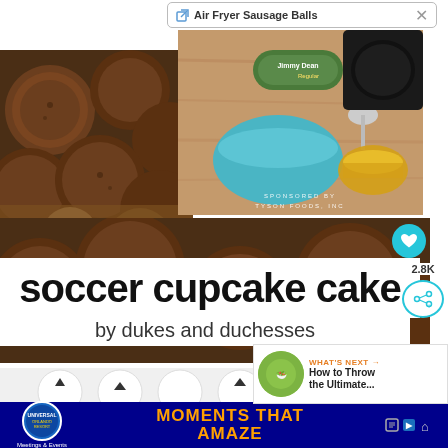Air Fryer Sausage Balls
[Figure (photo): Close-up photo of baked goods/cookies on left side]
[Figure (photo): Top-right photo showing air fryer sausage balls ingredients - Jimmy Dean sausage, blue bowl, air fryer, cheese, with TYSON FOODS, INC sponsorship text]
[Figure (photo): Wide bottom photo showing close-up of baked round cookies/balls]
soccer cupcake cake
by dukes and duchesses
[Figure (photo): Photo of soccer-themed cupcake cake with white frosting arranged in soccer ball pattern]
[Figure (infographic): WHAT'S NEXT arrow - How to Throw the Ultimate... with circular food thumbnail]
2.8K
[Figure (photo): Advertisement banner for Universal Orlando Resort - MOMENTS THAT AMAZE, Meetings & Events]